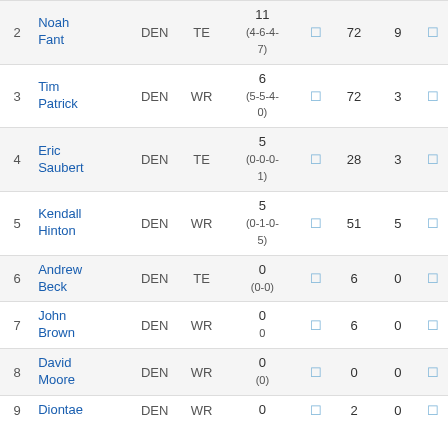| # | Name | Team | Pos | Pts |  | Yds | Rec |  |
| --- | --- | --- | --- | --- | --- | --- | --- | --- |
| 2 | Noah Fant | DEN | TE | 11 (4-6-4-7) | 🔲 | 72 | 9 | 🔲 |
| 3 | Tim Patrick | DEN | WR | 6 (5-5-4-0) | 🔲 | 72 | 3 | 🔲 |
| 4 | Eric Saubert | DEN | TE | 5 (0-0-0-1) | 🔲 | 28 | 3 | 🔲 |
| 5 | Kendall Hinton | DEN | WR | 5 (0-1-0-5) | 🔲 | 51 | 5 | 🔲 |
| 6 | Andrew Beck | DEN | TE | 0 (0-0) | 🔲 | 6 | 0 | 🔲 |
| 7 | John Brown | DEN | WR | 0 0 | 🔲 | 6 | 0 | 🔲 |
| 8 | David Moore | DEN | WR | 0 (0) | 🔲 | 0 | 0 | 🔲 |
| 9 | Diontae | DEN | WR | 0 | 🔲 | 2 | 0 | 🔲 |